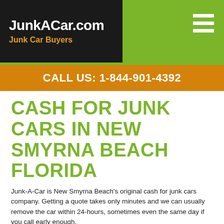[Figure (logo): JunkACar.com logo with dark background and orange subtitle 'Junk Car Buyers']
CALL US: 1-844-901-4392
CASH FOR JUNK CARS IN NEW SMYRNA BEACH FLORIDA
Junk-A-Car is New Smyrna Beach’s original cash for junk cars company. Getting a quote takes only minutes and we can usually remove the car within 24-hours, sometimes even the same day if you call early enough.
We will make you an offer right now for any car in any condition in or around New Smyrna Beach Florida. Whether it runs perfectly, has mechanical issues, has been in an accident we will make you an offer over the phone right now.
New Smyrna Beach area residents who want to sell a car, SUV, pick-up or